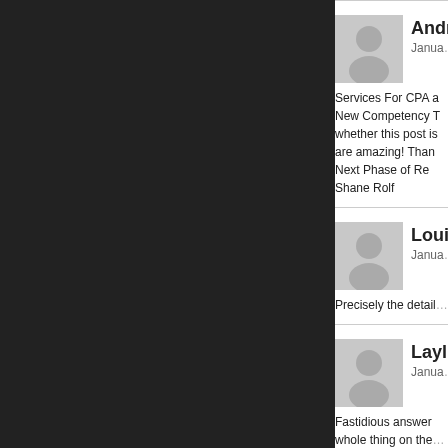[Figure (other): Dark/black left panel background]
Andr
Janua
[Figure (illustration): Generic gray user avatar placeholder icon]
Services For CPA a New Competency T whether this post is are amazing! Than Next Phase of Re Shane Rolf
Loui
Janua
[Figure (illustration): Generic gray user avatar placeholder icon]
Precisely the detail
Layl
Janua
[Figure (illustration): Generic gray user avatar placeholder icon]
Fastidious answer whole thing on the